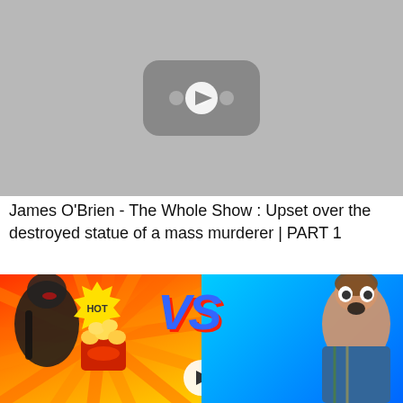[Figure (screenshot): YouTube video thumbnail placeholder showing gray background with YouTube play button icon (rounded rectangle with play triangle) in center]
James O'Brien - The Whole Show : Upset over the destroyed statue of a mass murderer | PART 1
[Figure (screenshot): YouTube video thumbnail showing a girl on the left side against red/orange radiating background with HOT badge, VS text in center, popcorn bowl, play button overlay, and a surprised boy on the right side against blue background]